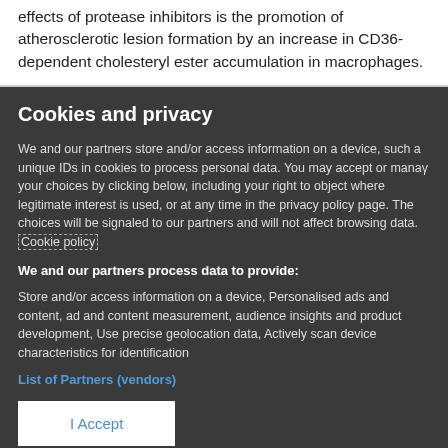effects of protease inhibitors is the promotion of atherosclerotic lesion formation by an increase in CD36-dependent cholesteryl ester accumulation in macrophages.
Cookies and privacy
We and our partners store and/or access information on a device, such a unique IDs in cookies to process personal data. You may accept or manage your choices by clicking below, including your right to object where legitimate interest is used, or at any time in the privacy policy page. These choices will be signaled to our partners and will not affect browsing data. Cookie policy
We and our partners process data to provide:
Store and/or access information on a device, Personalised ads and content, ad and content measurement, audience insights and product development, Use precise geolocation data, Actively scan device characteristics for identification
List of Partners (vendors)